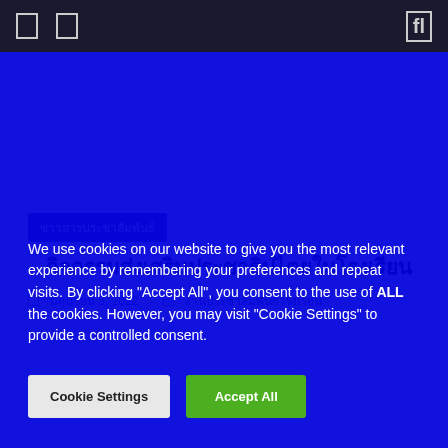Navigation bar with icons and search
ข่าวสารประชาสัมพันธ์
– กิจกรรมส่งเสริมประชาธิปไตยในโรงเรียน
มิถุนายน 5, 2022  งานประชาสัมพันธ์โรงเรียน
We use cookies on our website to give you the most relevant experience by remembering your preferences and repeat visits. By clicking "Accept All", you consent to the use of ALL the cookies. However, you may visit "Cookie Settings" to provide a controlled consent.
Cookie Settings  Accept All